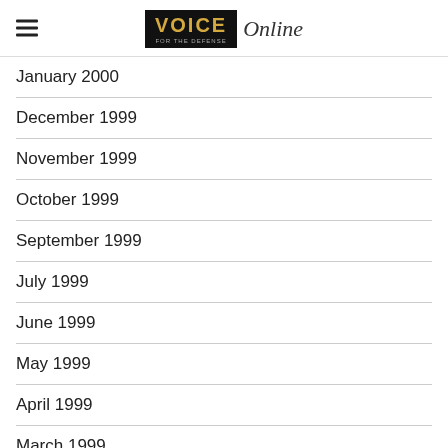VOICE Online
January 2000
December 1999
November 1999
October 1999
September 1999
July 1999
June 1999
May 1999
April 1999
March 1999
January 1999
December 1998